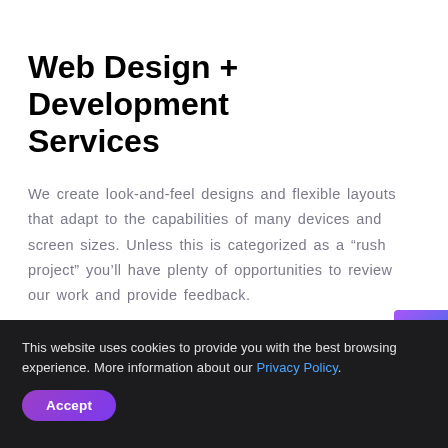Web Design + Development Services
We create look-and-feel designs and flexible layouts that adapt to the capabilities of many devices and screen sizes. Unless this is categorized as a “rush project” you’ll have plenty of opportunities to review our work and provide feedback.
Based on your choices, here are the following parameters:
This website uses cookies to provide you with the best browsing experience. More information about our Privacy Policy.
Accept